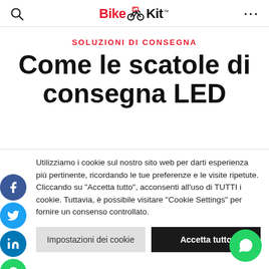BikeKit — navigation bar with search icon and menu dots
SOLUZIONI DI CONSEGNA
Come le scatole di consegna LED
Utilizziamo i cookie sul nostro sito web per darti esperienza più pertinente, ricordando le tue preferenze e le visite ripetute. Cliccando su "Accetta tutto", acconsenti all'uso di TUTTI i cookie. Tuttavia, è possibile visitare "Cookie Settings" per fornire un consenso controllato.
Impostazioni dei cookie | Accetta tutto